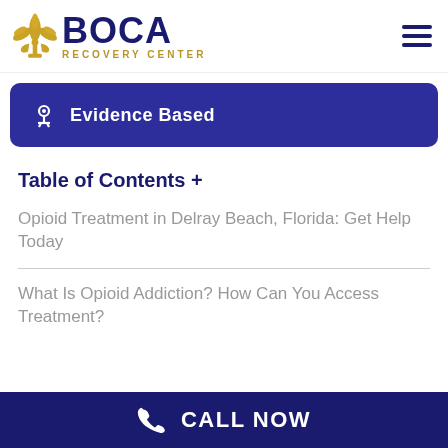BOCA Recovery Center
Evidence Based
Table of Contents +
Opioid Treatment in Delray Beach, Florida: Get Help Today
What Is Opioid Addiction? How Can You Access Treatment?
CALL NOW